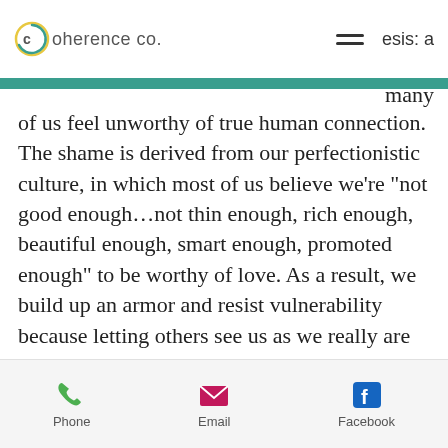Coherence co.   esis: a
many of us feel unworthy of true human connection. The shame is derived from our perfectionistic culture, in which most of us believe we’re “not good enough…not thin enough, rich enough, beautiful enough, smart enough, promoted enough” to be worthy of love. As a result, we build up an armor and resist vulnerability because letting others see us as we really are might mean rejection and pain. I believe that now more than ever, we are being stripped of that armor. We are isolated, forced to really see ourselves and forgo
Phone   Email   Facebook